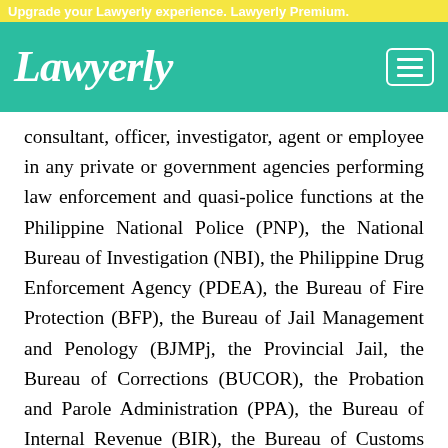Upgrade your Lawyerly experience. Lawyerly Premium.
Lawyerly
consultant, officer, investigator, agent or employee in any private or government agencies performing law enforcement and quasi-police functions at the Philippine National Police (PNP), the National Bureau of Investigation (NBI), the Philippine Drug Enforcement Agency (PDEA), the Bureau of Fire Protection (BFP), the Bureau of Jail Management and Penology (BJMPj, the Provincial Jail, the Bureau of Corrections (BUCOR), the Probation and Parole Administration (PPA), the Bureau of Internal Revenue (BIR), the Bureau of Customs (BoC). the Bangko Sentral ng Pilipinas (BSP), other government and private banks, the Philippine Postal Corporation (PPC), the Sea and Air Marshalls. the VIP Security, Airport